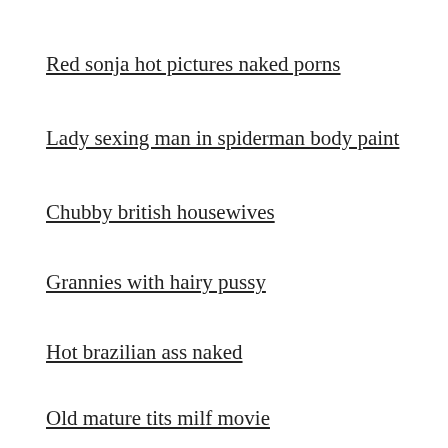Red sonja hot pictures naked porns
Lady sexing man in spiderman body paint
Chubby british housewives
Grannies with hairy pussy
Hot brazilian ass naked
Old mature tits milf movie